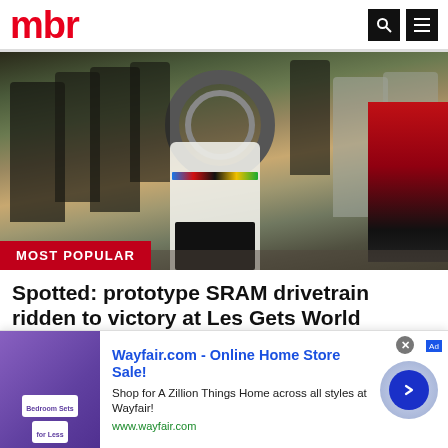mbr
[Figure (photo): Group of people celebrating outdoors with a mountain bike raised up; the central person kneels in a world championship jersey with arms raised in victory. A red bus is visible in the background.]
MOST POPULAR
Spotted: prototype SRAM drivetrain ridden to victory at Les Gets World Champs
MBR
[Figure (screenshot): Advertisement for Wayfair.com - Online Home Store Sale! Shop for A Zillion Things Home across all styles at Wayfair! www.wayfair.com — with a purple thumbnail image showing bedroom furniture and a blue arrow button.]